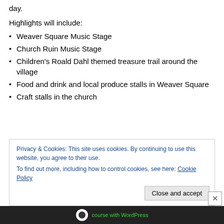day.
Highlights will include:
Weaver Square Music Stage
Church Ruin Music Stage
Children's Roald Dahl themed treasure trail around the village
Food and drink and local produce stalls in Weaver Square
Craft stalls in the church
Privacy & Cookies: This site uses cookies. By continuing to use this website, you agree to their use. To find out more, including how to control cookies, see here: Cookie Policy
Close and accept